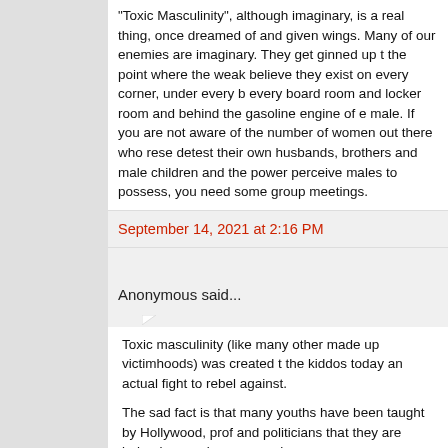"Toxic Masculinity", although imaginary, is a real thing, once dreamed of and given wings. Many of our enemies are imaginary. They get ginned up to the point where the weak believe they exist on every corner, under every bed, every board room and locker room and behind the gasoline engine of every male. If you are not aware of the number of women out there who resent and detest their own husbands, brothers and male children and the power they perceive males to possess, you need some group meetings.
September 14, 2021 at 2:16 PM
Anonymous said...
Toxic masculinity (like many other made up victimhoods) was created to give the kiddos today an actual fight to rebel against.

The sad fact is that many youths have been taught by Hollywood, prof... and politicians that they are indeed severely oppressed.

They could not locate any actual oppression in their charmed little lives... justify the angst and rage that they were entitled to and longed to wage... upon...so they created the narrative that bullying, strong males and law enforcement were the real enemies.

That faux-war has made a lot of people more powerful and is far more... monetarily lucrative than personal responsibility. So, on it rages.
September 14, 2021 at 3:41 PM